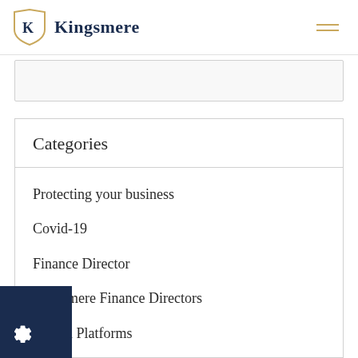Kingsmere
Categories
Protecting your business
Covid-19
Finance Director
Kingsmere Finance Directors
Digital Platforms
Cybersecurity
nicial Information